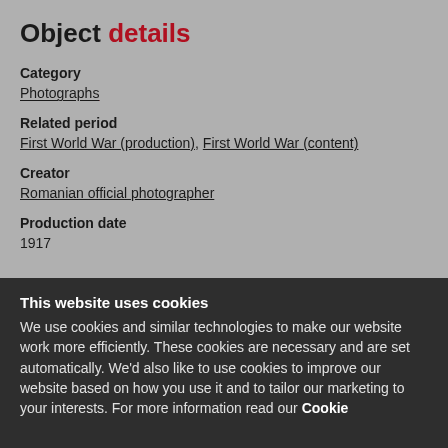Object details
Category
Photographs
Related period
First World War (production), First World War (content)
Creator
Romanian official photographer
Production date
1917
This website uses cookies
We use cookies and similar technologies to make our website work more efficiently. These cookies are necessary and are set automatically. We'd also like to use cookies to improve our website based on how you use it and to tailor our marketing to your interests. For more information read our Cookie